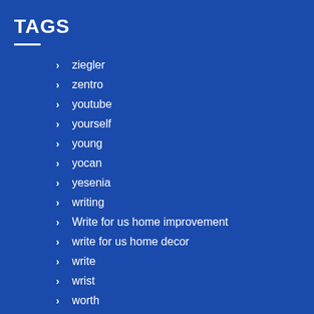TAGS
ziegler
zentro
youtube
yourself
young
yocan
yesenia
writing
Write for us home improvement
write for us home decor
write
wrist
worth
worry